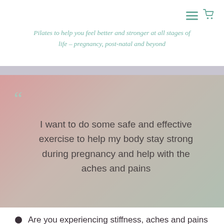Pilates to help you feel better and stronger at all stages of life – pregnancy, post-natal and beyond
I want to do some safe and effective exercise to help my body stay strong during pregnancy and help with the aches and pains
Are you experiencing stiffness, aches and pains during your pregnancy?